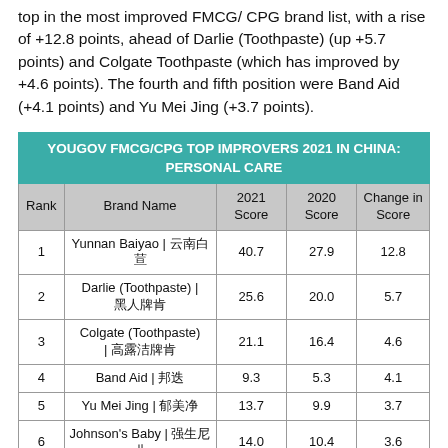top in the most improved FMCG/ CPG brand list, with a rise of +12.8 points, ahead of Darlie (Toothpaste) (up +5.7 points) and Colgate Toothpaste (which has improved by +4.6 points). The fourth and fifth position were Band Aid (+4.1 points) and Yu Mei Jing (+3.7 points).
| Rank | Brand Name | 2021 Score | 2020 Score | Change in Score |
| --- | --- | --- | --- | --- |
| 1 | Yunnan Baiyao | 云南白药 | 40.7 | 27.9 | 12.8 |
| 2 | Darlie (Toothpaste) | 黑人牙膏 | 25.6 | 20.0 | 5.7 |
| 3 | Colgate (Toothpaste) | 高露洁牙膏 | 21.1 | 16.4 | 4.6 |
| 4 | Band Aid | 邦迪 | 9.3 | 5.3 | 4.1 |
| 5 | Yu Mei Jing | 郁美净 | 13.7 | 9.9 | 3.7 |
| 6 | Johnson's Baby | 强生婴儿 | 14.0 | 10.4 | 3.6 |
| 7 | Frog Prince | 青蛙王子 | 10.6 | 7.1 | 3.4 |